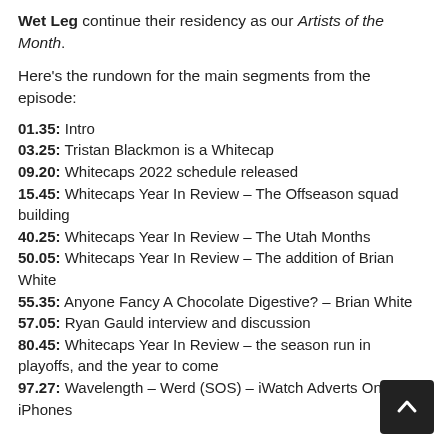Wet Leg continue their residency as our Artists of the Month.
Here's the rundown for the main segments from the episode:
01.35: Intro
03.25: Tristan Blackmon is a Whitecap
09.20: Whitecaps 2022 schedule released
15.45: Whitecaps Year In Review – The Offseason squad building
40.25: Whitecaps Year In Review – The Utah Months
50.05: Whitecaps Year In Review – The addition of Brian White
55.35: Anyone Fancy A Chocolate Digestive? – Brian White
57.05: Ryan Gauld interview and discussion
80.45: Whitecaps Year In Review – the season run in playoffs, and the year to come
97.27: Wavelength – Werd (SOS) – iWatch Adverts On iPhones